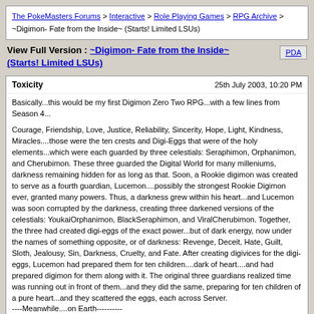The PokeMasters Forums > Interactive > Role Playing Games > RPG Archive > ~Digimon- Fate from the Inside~ (Starts! Limited LSUs)
View Full Version : ~Digimon- Fate from the Inside~ (Starts! Limited LSUs)
Toxicity   25th July 2003, 10:20 PM
Basically...this would be my first Digimon Zero Two RPG...with a few lines from Season 4...

Courage, Friendship, Love, Justice, Reliability, Sincerity, Hope, Light, Kindness, Miracles....those were the ten crests and Digi-Eggs that were of the holy elements...which were each guarded by three celestials: Seraphimon, Orphanimon, and Cherubimon. These three guarded the Digital World for many milleniums, darkness remaining hidden for as long as that. Soon, a Rookie digimon was created to serve as a fourth guardian, Lucemon....possibly the strongest Rookie Digimon ever, granted many powers. Thus, a darkness grew within his heart...and Lucemon was soon corrupted by the darkness, creating three darkened versions of the celestials: YoukaiOrphanimon, BlackSeraphimon, and ViralCherubimon. Together, the three had created digi-eggs of the exact power...but of dark energy, now under the names of something opposite, or of darkness: Revenge, Deceit, Hate, Guilt, Sloth, Jealousy, Sin, Darkness, Cruelty, and Fate. After creating digivices for the digi-eggs, Lucemon had prepared them for ten children....dark of heart....and had prepared digimon for them along with it. The original three guardians realized time was running out in front of them...and they did the same, preparing for ten children of a pure heart...and they scattered the eggs, each across Server.
----Meanwhile....on Earth----------
It's a tiring early July day in Japan for the chosen teens...each going with their normal lives, nervous of what comes ahead of them...the sun is bright...and basically, nothing seems exciting. In your heart...you feel as if something is pulling towards your heart...not knowing what. As you log onto the internet, you